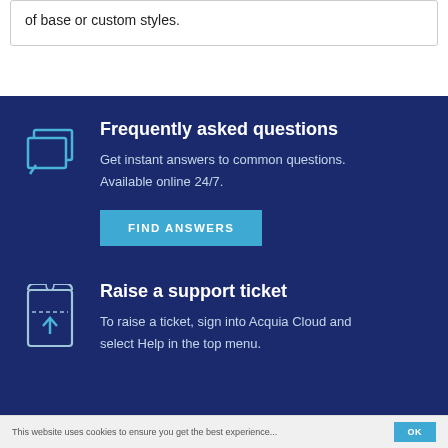of base or custom styles.
Frequently asked questions
Get instant answers to common questions. Available online 24/7.
FIND ANSWERS
Raise a support ticket
To raise a ticket, sign into Acquia Cloud and select Help in the top menu.
This website uses cookies to ensure you get the best experience...